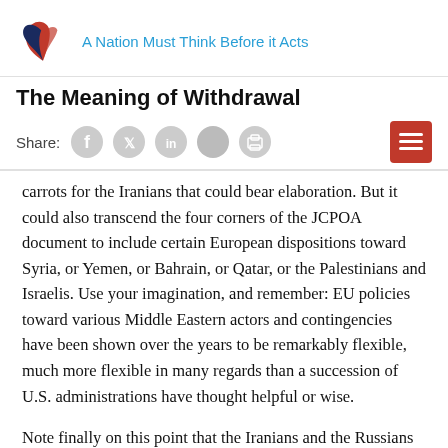A Nation Must Think Before it Acts
The Meaning of Withdrawal
Share:
carrots for the Iranians that could bear elaboration. But it could also transcend the four corners of the JCPOA document to include certain European dispositions toward Syria, or Yemen, or Bahrain, or Qatar, or the Palestinians and Israelis. Use your imagination, and remember: EU policies toward various Middle Eastern actors and contingencies have been shown over the years to be remarkably flexible, much more flexible in many regards than a succession of U.S. administrations have thought helpful or wise.
Note finally on this point that the Iranians and the Russians are in cahoots with each other in Syria, and the Russians can be counted on to encourage the Iranians to harvest European largesse, because that largesse doubles as an